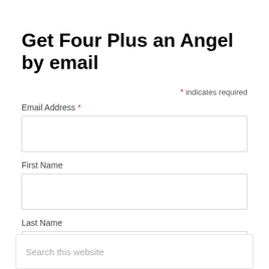Get Four Plus an Angel by email
* indicates required
Email Address *
First Name
Last Name
SUBSCRIBE
Search this website